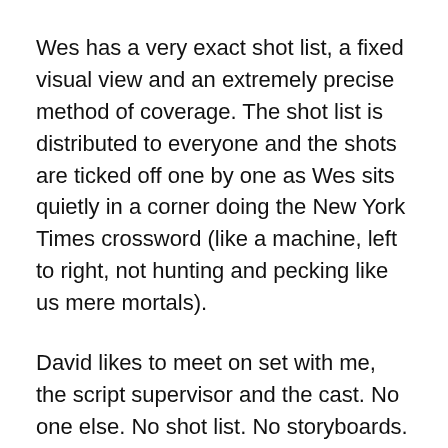Wes has a very exact shot list, a fixed visual view and an extremely precise method of coverage. The shot list is distributed to everyone and the shots are ticked off one by one as Wes sits quietly in a corner doing the New York Times crossword (like a machine, left to right, not hunting and pecking like us mere mortals).
David likes to meet on set with me, the script supervisor and the cast. No one else. No shot list. No storyboards.
Nobody anywhere near. An empty studio. Silence …
Then the work begins. Reading, blocking, re-blocking, finding the angles, the moments, the rhythms … it all comes out of human interaction on set.
So, my job is simple with one approach. Just shoot the shots. With the other approach, I get to be part of telling a